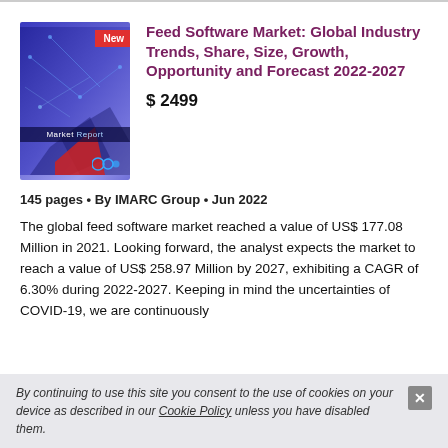[Figure (illustration): Market Report book cover with blue/purple gradient background, network lines, 'New' red badge, 'Market Report' label, bubble icon]
Feed Software Market: Global Industry Trends, Share, Size, Growth, Opportunity and Forecast 2022-2027
$ 2499
145 pages • By IMARC Group • Jun 2022
The global feed software market reached a value of US$ 177.08 Million in 2021. Looking forward, the analyst expects the market to reach a value of US$ 258.97 Million by 2027, exhibiting a CAGR of 6.30% during 2022-2027. Keeping in mind the uncertainties of COVID-19, we are continuously
By continuing to use this site you consent to the use of cookies on your device as described in our Cookie Policy unless you have disabled them.